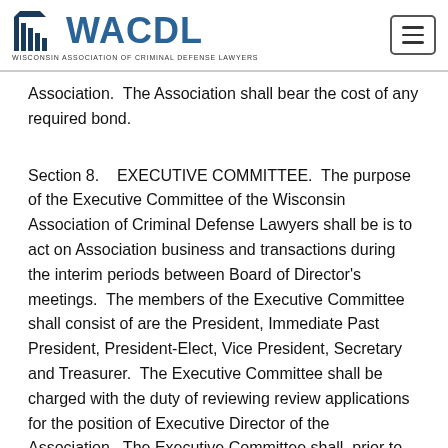WACDL — Wisconsin Association of Criminal Defense Lawyers
Association.  The Association shall bear the cost of any required bond.
Section 8.    EXECUTIVE COMMITTEE.  The purpose of the Executive Committee of the Wisconsin Association of Criminal Defense Lawyers shall be is to act on Association business and transactions during the interim periods between Board of Director's meetings.  The members of the Executive Committee shall consist of are the President, Immediate Past President, President-Elect, Vice President, Secretary and Treasurer.  The Executive Committee shall be charged with the duty of reviewing review applications for the position of Executive Director of the Association.  The Executive Committee shall, prior to the annual meeting of the Association, review the performance of the current Executive Director and determine whether he/she shall be recommended for a successive term of office retention.